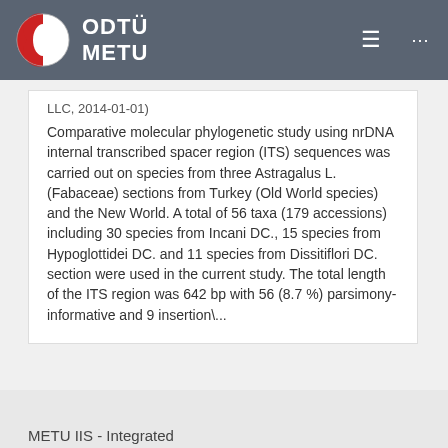[Figure (logo): ODTÜ METU university logo with red and white circular emblem and white text on grey navigation bar]
LLC, 2014-01-01)
Comparative molecular phylogenetic study using nrDNA internal transcribed spacer region (ITS) sequences was carried out on species from three Astragalus L. (Fabaceae) sections from Turkey (Old World species) and the New World. A total of 56 taxa (179 accessions) including 30 species from Incani DC., 15 species from Hypoglottidei DC. and 11 species from Dissitiflori DC. section were used in the current study. The total length of the ITS region was 642 bp with 56 (8.7 %) parsimony-informative and 9 insertion\...
METU IIS - Integrated